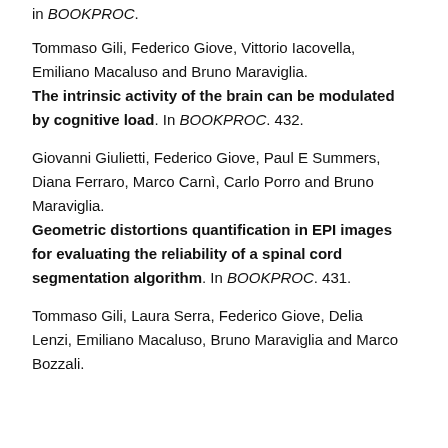in BOOKPROC.
Tommaso Gili, Federico Giove, Vittorio Iacovella, Emiliano Macaluso and Bruno Maraviglia.
The intrinsic activity of the brain can be modulated by cognitive load. In BOOKPROC. 432.
Giovanni Giulietti, Federico Giove, Paul E Summers, Diana Ferraro, Marco Carnì, Carlo Porro and Bruno Maraviglia.
Geometric distortions quantification in EPI images for evaluating the reliability of a spinal cord segmentation algorithm. In BOOKPROC. 431.
Tommaso Gili, Laura Serra, Federico Giove, Delia Lenzi, Emiliano Macaluso, Bruno Maraviglia and Marco Bozzali.